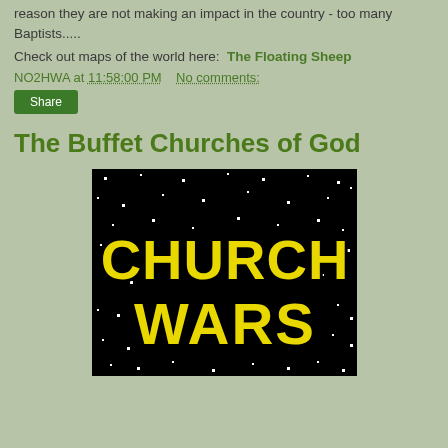reason they are not making an impact in the country - too many Baptists.....
Check out maps of the world here:  The Floating Sheep
NO2HWA at 11:58:00 PM   No comments:
Share
The Buffet Churches of God
[Figure (illustration): Star Wars style logo parody text reading 'CHURCH WARS' in yellow block letters on a black starfield background]